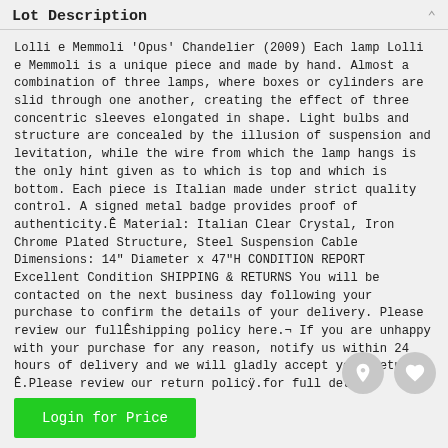Lot Description
Lolli e Memmoli 'Opus' Chandelier (2009) Each lamp Lolli e Memmoli is a unique piece and made by hand. Almost a combination of three lamps, where boxes or cylinders are slid through one another, creating the effect of three concentric sleeves elongated in shape. Light bulbs and structure are concealed by the illusion of suspension and levitation, while the wire from which the lamp hangs is the only hint given as to which is top and which is bottom. Each piece is Italian made under strict quality control. A signed metal badge provides proof of authenticity.Ê Material: Italian Clear Crystal, Iron Chrome Plated Structure, Steel Suspension Cable Dimensions: 14" Diameter x 47"H CONDITION REPORT Excellent Condition SHIPPING & RETURNS You will be contacted on the next business day following your purchase to confirm the details of your delivery. Please review our fullÊshipping policy here.¬ If you are unhappy with your purchase for any reason, notify us within 24 hours of delivery and we will gladly accept your return Ê.Please review our return policÿ.for full details